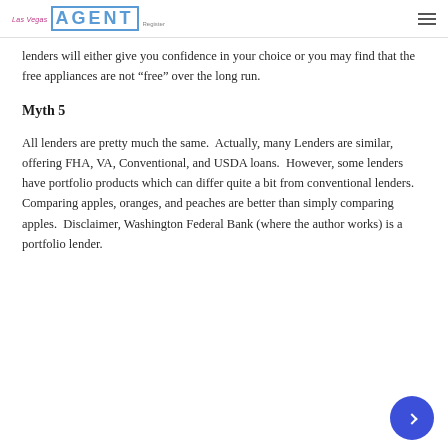Las Vegas AGENT Register
lenders will either give you confidence in your choice or you may find that the free appliances are not “free” over the long run.
Myth 5
All lenders are pretty much the same.  Actually, many Lenders are similar, offering FHA, VA, Conventional, and USDA loans.  However, some lenders have portfolio products which can differ quite a bit from conventional lenders. Comparing apples, oranges, and peaches are better than simply comparing apples.  Disclaimer, Washington Federal Bank (where the author works) is a portfolio lender.